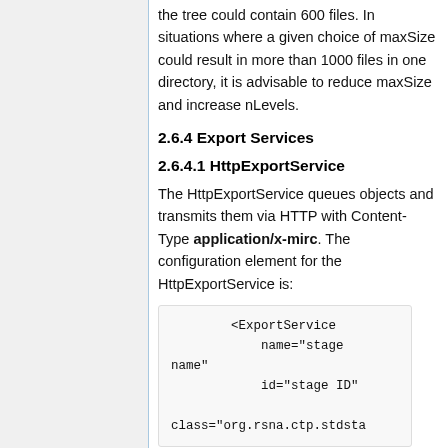the tree could contain 600 files. In situations where a given choice of maxSize could result in more than 1000 files in one directory, it is advisable to reduce maxSize and increase nLevels.
2.6.4 Export Services
2.6.4.1 HttpExportService
The HttpExportService queues objects and transmits them via HTTP with Content-Type application/x-mirc. The configuration element for the HttpExportService is:
<ExportService
        name="stage
name"
        id="stage ID"

class="org.rsna.ctp.stdsta